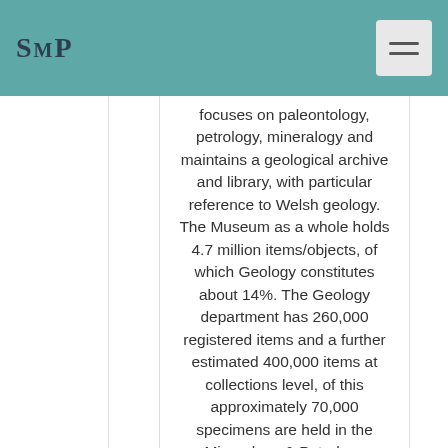SMP
focuses on paleontology, petrology, mineralogy and maintains a geological archive and library, with particular reference to Welsh geology. The Museum as a whole holds 4.7 million items/objects, of which Geology constitutes about 14%. The Geology department has 260,000 registered items and a further estimated 400,000 items at collections level, of this approximately 70,000 specimens are held in the Mineralogy & Petrology Sections. There are nine curators within the Department, with three curators and a Collection